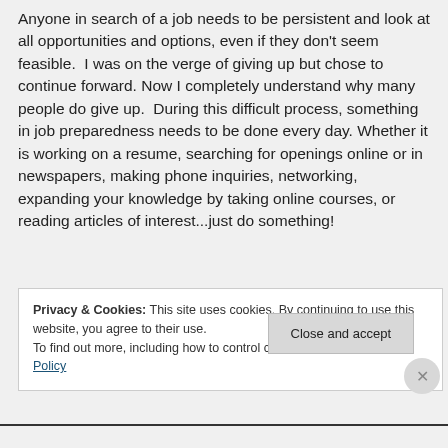Anyone in search of a job needs to be persistent and look at all opportunities and options, even if they don't seem feasible. I was on the verge of giving up but chose to continue forward. Now I completely understand why many people do give up. During this difficult process, something in job preparedness needs to be done every day. Whether it is working on a resume, searching for openings online or in newspapers, making phone inquiries, networking, expanding your knowledge by taking online courses, or reading articles of interest...just do something!
Privacy & Cookies: This site uses cookies. By continuing to use this website, you agree to their use. To find out more, including how to control cookies, see here: Cookie Policy